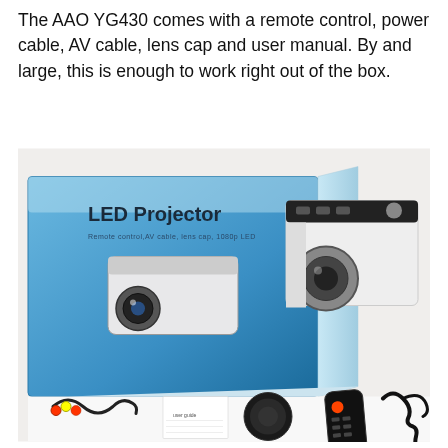The AAO YG430 comes with a remote control, power cable, AV cable, lens cap and user manual. By and large, this is enough to work right out of the box.
[Figure (photo): Product photo showing the AAO YG430 LED Projector box and its contents laid out: the projector unit (white), AV cable, user manual, lens cap, remote control, and power cable, against a white background.]